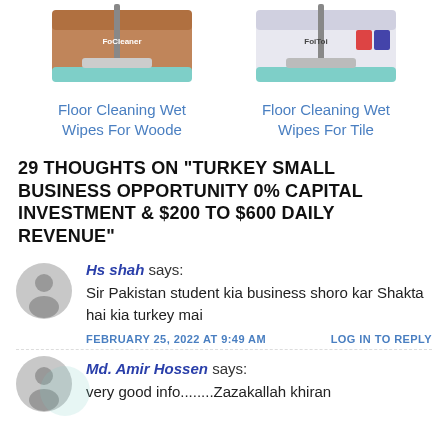[Figure (illustration): Product image of Floor Cleaning Wet Wipes For Woode (mop product box)]
[Figure (illustration): Product image of Floor Cleaning Wet Wipes For Tile (mop product box)]
Floor Cleaning Wet Wipes For Woode
Floor Cleaning Wet Wipes For Tile
29 THOUGHTS ON "TURKEY SMALL BUSINESS OPPORTUNITY 0% CAPITAL INVESTMENT & $200 TO $600 DAILY REVENUE"
Hs shah says:
Sir Pakistan student kia business shoro kar Shakta hai kia turkey mai
FEBRUARY 25, 2022 AT 9:49 AM    LOG IN TO REPLY
Md. Amir Hossen says:
very good info........Zazakallah khiran